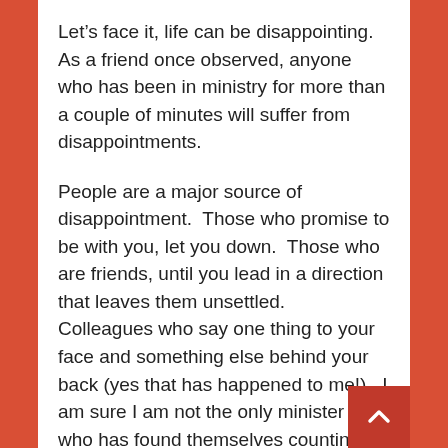Let’s face it, life can be disappointing.  As a friend once observed, anyone who has been in ministry for more than a couple of minutes will suffer from disappointments.
People are a major source of disappointment.  Those who promise to be with you, let you down.  Those who are friends, until you lead in a direction that leaves them unsettled.  Colleagues who say one thing to your face and something else behind your back (yes that has happened to me!).  I am sure I am not the only minister alive who has found themselves counting people and been disappointed with the response an event has received.
If I am going to be truly honest, there are also